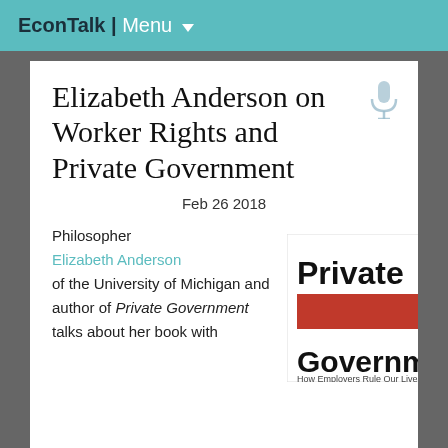EconTalk | Menu
Elizabeth Anderson on Worker Rights and Private Government
Feb 26 2018
Philosopher Elizabeth Anderson of the University of Michigan and author of Private Government talks about her book with
[Figure (illustration): Book cover of 'Private Government: How Employers Rule Our Lives' with bold black text on white and a red banner/ribbon graphic across the middle]